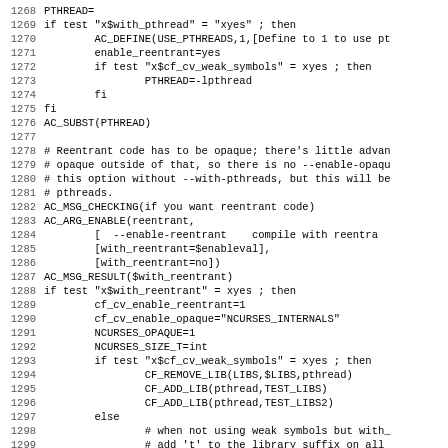[Figure (screenshot): Source code listing showing shell script / autoconf configure code, lines 1268–1299, with line numbers on the left and monospace code on the right. Topics include PTHREAD setup, AC_SUBST, AC_MSG_CHECKING for reentrant code, AC_ARG_ENABLE, AC_MSG_RESULT, and conditional logic for cf_cv_weak_symbols.]